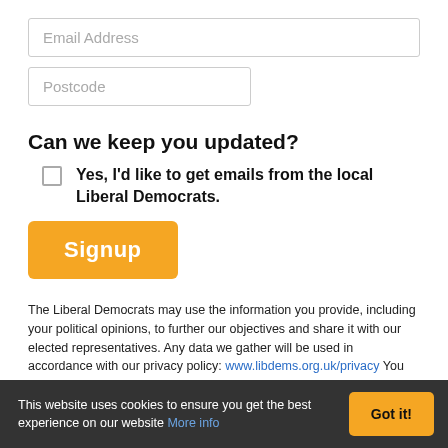[Figure (other): Email Address input field (text box placeholder)]
[Figure (other): Postcode input field (text box placeholder)]
Can we keep you updated?
Yes, I'd like to get emails from the local Liberal Democrats.
[Figure (other): Signup orange button]
The Liberal Democrats may use the information you provide, including your political opinions, to further our objectives and share it with our elected representatives. Any data we gather will be used in accordance with our privacy policy: www.libdems.org.uk/privacy You can exercise your rights and withdraw your consent to future communications by contacting us: data.protection@libdems.org.uk or: DPO, Lib Dems, 1 Vincent Square, SW1P 2PN.
This website uses cookies to ensure you get the best experience on our website More info  Got it!